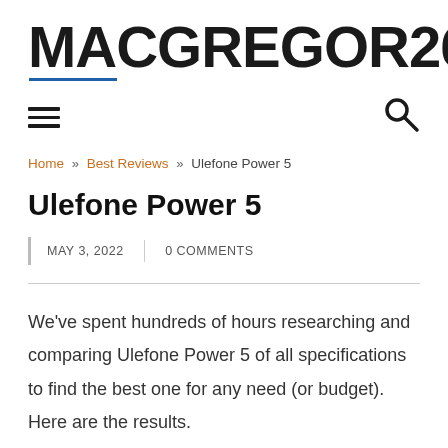[Figure (logo): MACGREGOR26 logo in bold black uppercase letters with a blue underline beneath 'MACGREGOR']
[Figure (infographic): Navigation bar with hamburger menu icon on left and search (magnifying glass) icon on right]
Home » Best Reviews » Ulefone Power 5
Ulefone Power 5
MAY 3, 2022 | 0 COMMENTS
We've spent hundreds of hours researching and comparing Ulefone Power 5 of all specifications to find the best one for any need (or budget). Here are the results.